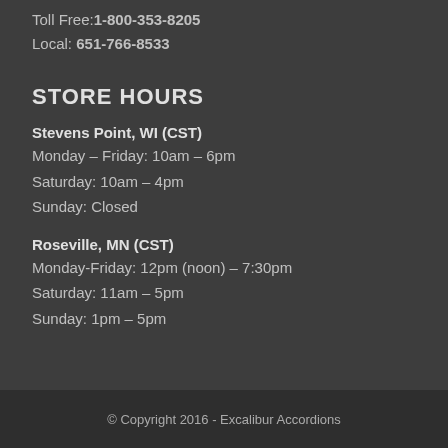Toll Free:1-800-353-8205
Local: 651-766-8533
STORE HOURS
Stevens Point, WI (CST)
Monday – Friday: 10am – 6pm
Saturday: 10am – 4pm
Sunday: Closed
Roseville, MN (CST)
Monday-Friday: 12pm (noon) – 7:30pm
Saturday: 11am – 5pm
Sunday: 1pm – 5pm
© Copyright 2016 - Excalibur Accordions